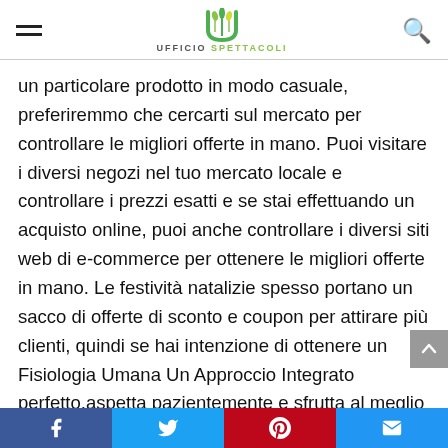Ufficio Spettacoli — navigation header
un particolare prodotto in modo casuale, preferiremmo che cercarti sul mercato per controllare le migliori offerte in mano. Puoi visitare i diversi negozi nel tuo mercato locale e controllare i prezzi esatti e se stai effettuando un acquisto online, puoi anche controllare i diversi siti web di e-commerce per ottenere le migliori offerte in mano. Le festività natalizie spesso portano un sacco di offerte di sconto e coupon per attirare più clienti, quindi se hai intenzione di ottenere un Fisiologia Umana Un Approccio Integrato perfetto,aspetta pazientemente e sfrutta al meglio questa stagione
Social share bar: Facebook, Twitter, Pinterest, Email